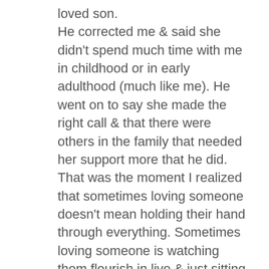loved son.
He corrected me & said she didn't spend much time with me in childhood or in early adulthood (much like me). He went on to say she made the right call & that there were others in the family that needed her support more that he did.
That was the moment I realized that sometimes loving someone doesn't mean holding their hand through everything. Sometimes loving someone is watching them flourish in live & just sitting back & smiling.
This realization redirected my mind from the emotional pain of being the so-called black sheep to knowing that I had to carry her legacy of supporting my family through all the struggles life brings.
What she saw in me made my hurting